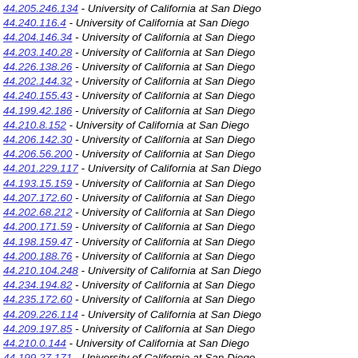44.205.246.134 - University of California at San Diego
44.240.116.4 - University of California at San Diego
44.204.146.34 - University of California at San Diego
44.203.140.28 - University of California at San Diego
44.226.138.26 - University of California at San Diego
44.202.144.32 - University of California at San Diego
44.240.155.43 - University of California at San Diego
44.199.42.186 - University of California at San Diego
44.210.8.152 - University of California at San Diego
44.206.142.30 - University of California at San Diego
44.206.56.200 - University of California at San Diego
44.201.229.117 - University of California at San Diego
44.193.15.159 - University of California at San Diego
44.207.172.60 - University of California at San Diego
44.202.68.212 - University of California at San Diego
44.200.171.59 - University of California at San Diego
44.198.159.47 - University of California at San Diego
44.200.188.76 - University of California at San Diego
44.210.104.248 - University of California at San Diego
44.234.194.82 - University of California at San Diego
44.235.172.60 - University of California at San Diego
44.209.226.114 - University of California at San Diego
44.209.197.85 - University of California at San Diego
44.210.0.144 - University of California at San Diego
44.199.27.171 - University of California at San Diego
44.209.168.56 - University of California at San Diego
44.201.221.109 - University of California at San Diego
44.207.25.169 - University of California at San Diego
44.209.156.44 - University of California at San Diego
44.209.255.143 - University of California at San Diego